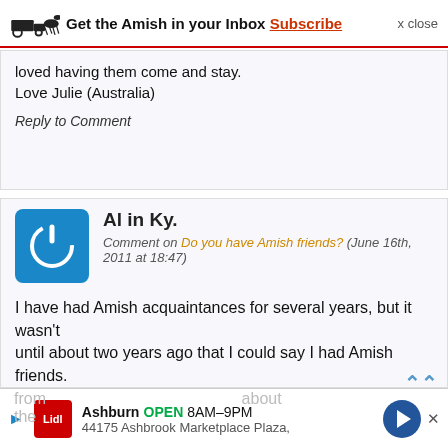Get the Amish in your Inbox Subscribe  x close
loved having them come and stay.
Love Julie (Australia)
Reply to Comment
Al in Ky.
Comment on Do you have Amish friends? (June 16th, 2011 at 18:47)
I have had Amish acquaintances for several years, but it wasn't
until about two years ago that I could say I had Amish friends.
Our friendship evolved from a common interest — produce farming,
and gradually our conversations got longer and longer and went
from                                                          about
the
Ashburn  OPEN  8AM–9PM  44175 Ashbrook Marketplace Plaza,